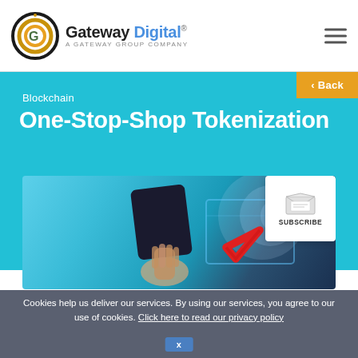Gateway Digital — A Gateway Group Company
Blockchain
One-Stop-Shop Tokenization
[Figure (photo): Person holding a tablet with digital blockchain interface and a red checkmark graphic; Subscribe button overlay in top right corner of image]
Client Overview   Business Challenge
Cookies help us deliver our services. By using our services, you agree to our use of cookies. Click here to read our privacy policy